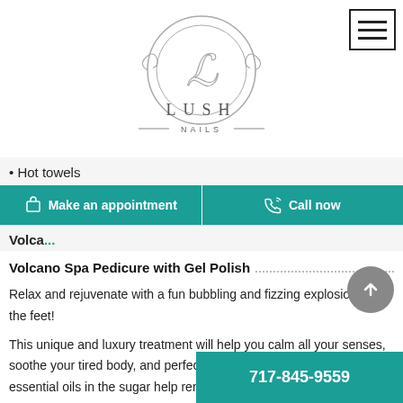[Figure (logo): Lush Nails salon logo — circular ornate design with stylized 'L' and text 'LUSH NAILS' below]
Hot towels
Make an appointment  |  Call now
Volcano Spa Pedicure with Gel Polish
Volcano Spa Pedicure with Gel Polish
Relax and rejuvenate with a fun bubbling and fizzing explosion on the feet!
This unique and luxury treatment will help you calm all your senses, soothe your tired body, and perfect your stressed-out skin. The essential oils in the sugar help renew the texture of the skin a... the same time, a collagen cream mask is formulated to
717-845-9559